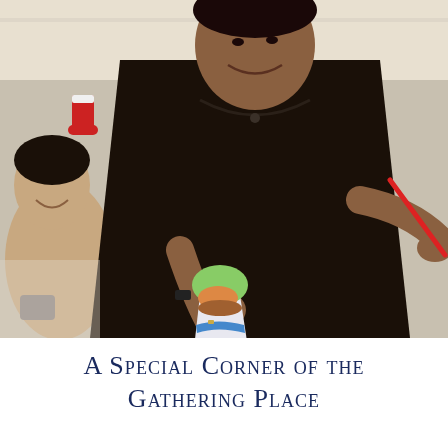[Figure (photo): A smiling man in a black polo shirt holds a cup of shaved ice with green topping and a red spoon, standing next to a smiling Asian woman in what appears to be a shave ice shop with a red Christmas stocking decoration visible in the background.]
A Special Corner of the Gathering Place